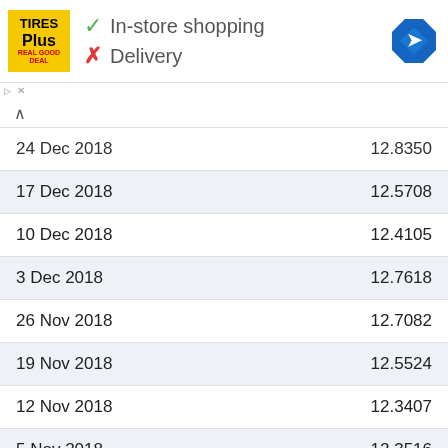[Figure (logo): Tires Plus logo - yellow square with black text]
✓ In-store shopping
✗ Delivery
| Date | Value |
| --- | --- |
| 24 Dec 2018 | 12.8350 |
| 17 Dec 2018 | 12.5708 |
| 10 Dec 2018 | 12.4105 |
| 3 Dec 2018 | 12.7618 |
| 26 Nov 2018 | 12.7082 |
| 19 Nov 2018 | 12.5524 |
| 12 Nov 2018 | 12.3407 |
| 5 Nov 2018 | 12.3516 |
| 29 Oct 2018 | 12.2282 |
| 22 Oct 2018 | 12.2111 |